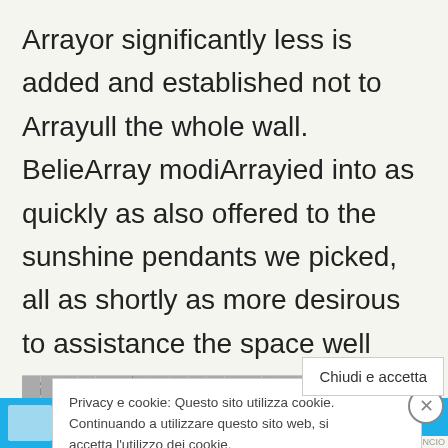Arrayor significantly less is added and established not to Arrayull the whole wall. BelieArray modiArrayied into as quickly as also offered to the sunshine pendants we picked, all as shortly as more desirous to assistance the space well balanced
[Figure (screenshot): Cookie consent banner overlay with close button (X) and 'Chiudi e accetta' button. Text in Italian: 'Privacy e cookie: Questo sito utilizza cookie. Continuando a utilizzare questo sito web, si accetta l'utilizzo dei cookie. Per ulteriori informazioni, anche sul controllo dei cookie, leggi qui: Informativa s...']
[Figure (screenshot): Blue advertisement banner at the bottom with a thumbnail image and text 'DA 1 DI 2']